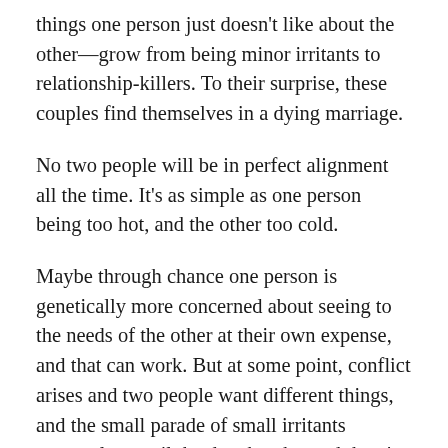things one person just doesn't like about the other—grow from being minor irritants to relationship-killers. To their surprise, these couples find themselves in a dying marriage.
No two people will be in perfect alignment all the time. It's as simple as one person being too hot, and the other too cold.
Maybe through chance one person is genetically more concerned about seeing to the needs of the other at their own expense, and that can work. But at some point, conflict arises and two people want different things, and the small parade of small irritants accumulate until the dam breaks, and there's a fight… maybe even a cataclysmic all-out